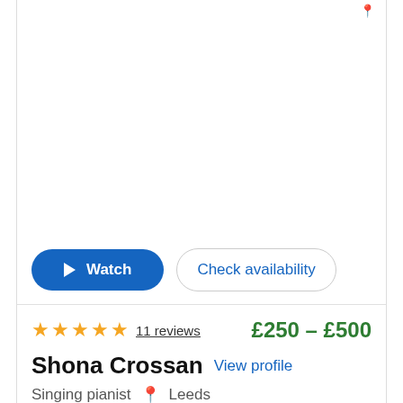[Figure (other): Empty white image area / performer photo placeholder with location pin icon in top right]
Watch | Check availability
★★★★★ 11 reviews   £250 - £500
Shona Crossan  View profile
Singing pianist  📍 Leeds
Shona's beautiful and soulful piano and vocals